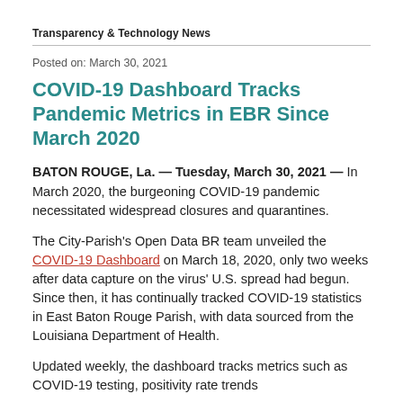Transparency & Technology News
Posted on: March 30, 2021
COVID-19 Dashboard Tracks Pandemic Metrics in EBR Since March 2020
BATON ROUGE, La. — Tuesday, March 30, 2021 — In March 2020, the burgeoning COVID-19 pandemic necessitated widespread closures and quarantines.
The City-Parish's Open Data BR team unveiled the COVID-19 Dashboard on March 18, 2020, only two weeks after data capture on the virus' U.S. spread had begun. Since then, it has continually tracked COVID-19 statistics in East Baton Rouge Parish, with data sourced from the Louisiana Department of Health.
Updated weekly, the dashboard tracks metrics such as COVID-19 testing, positivity rate trends